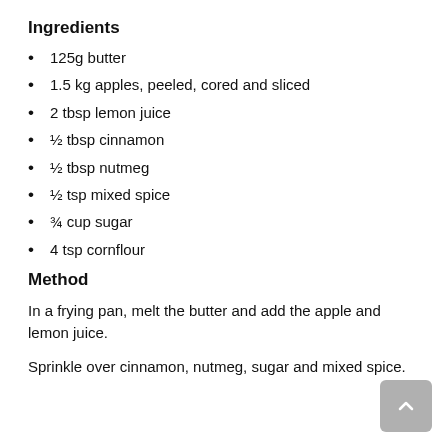Ingredients
125g butter
1.5 kg apples, peeled, cored and sliced
2 tbsp lemon juice
½ tbsp cinnamon
½ tbsp nutmeg
½ tsp mixed spice
¾ cup sugar
4 tsp cornflour
Method
In a frying pan, melt the butter and add the apple and lemon juice.
Sprinkle over cinnamon, nutmeg, sugar and mixed spice.